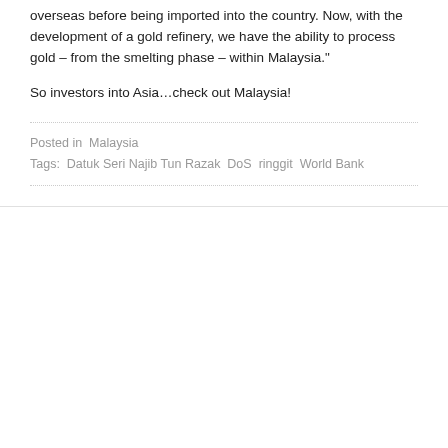overseas before being imported into the country. Now, with the development of a gold refinery, we have the ability to process gold – from the smelting phase – within Malaysia."
So investors into Asia…check out Malaysia!
Posted in  Malaysia
Tags:  Datuk Seri Najib Tun Razak  DoS  ringgit  World Bank